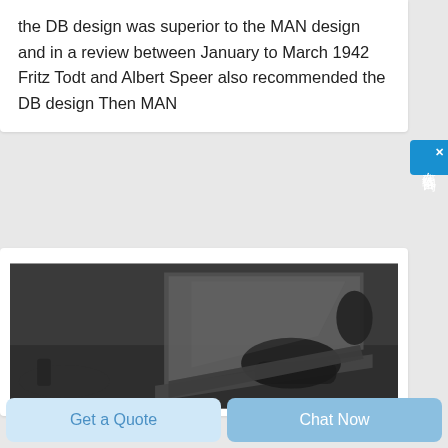the DB design was superior to the MAN design and in a review between January to March 1942 Fritz Todt and Albert Speer also recommended the DB design Then MAN
[Figure (photo): Dark photograph of a person working on a laptop computer, seen from above at an angle, with a dark background.]
在线咨询
Get a Quote
Chat Now